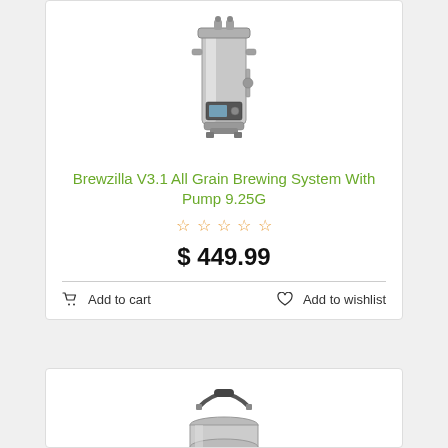[Figure (photo): Brewzilla V3.1 All Grain Brewing System stainless steel cylinder with digital control panel and pump]
Brewzilla V3.1 All Grain Brewing System With Pump 9.25G
☆☆☆☆☆
$ 449.99
Add to cart
Add to wishlist
[Figure (photo): Second product - stainless steel brewing vessel with handle, partially visible]